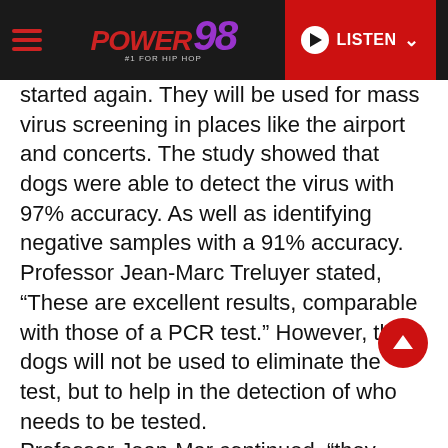POWER 98 #1 FOR HIP HOP | LISTEN
started again. They will be used for mass virus screening in places like the airport and concerts. The study showed that dogs were able to detect the virus with 97% accuracy. As well as identifying negative samples with a 91% accuracy. Professor Jean-Marc Treluyer stated, “These are excellent results, comparable with those of a PCR test.” However, the dogs will not be used to eliminate the test, but to help in the detection of who needs to be tested. Professor Jean-Mar continued, “they could help identify those people who should undergo a full viral test and – because the dogs’ response is so quick – facilitate mass